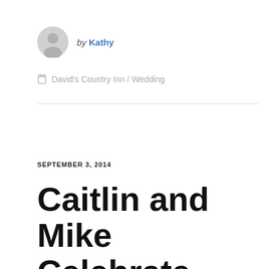by Kathy
David's Country Inn / Wedding
SEPTEMBER 3, 2014
Caitlin and Mike Celebrate their Wedding Day at